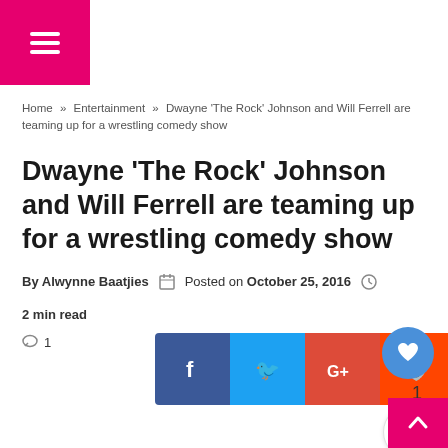☰ (hamburger menu icon)
Home » Entertainment » Dwayne 'The Rock' Johnson and Will Ferrell are teaming up for a wrestling comedy show
Dwayne 'The Rock' Johnson and Will Ferrell are teaming up for a wrestling comedy show
By Alwynne Baatjies   Posted on October 25, 2016   2 min read
1
[Figure (infographic): Social media share buttons row: Facebook, Twitter, Google+, Reddit, Pinterest, LinkedIn, Tumblr, WhatsApp, Telegram]
[Figure (infographic): Like button (heart icon, count: 1) and share button on right side]
^ (back to top button)